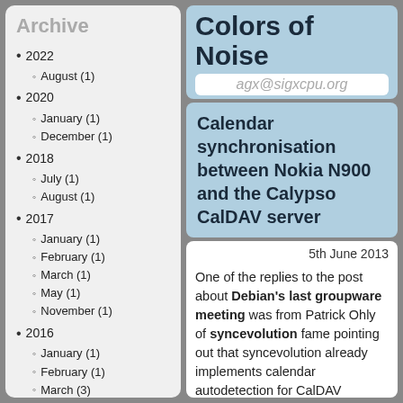Archive
2022
August (1)
2020
January (1)
December (1)
2018
July (1)
August (1)
2017
January (1)
February (1)
March (1)
May (1)
November (1)
2016
January (1)
February (1)
March (3)
April (1)
May (1)
June (1)
July (1)
August (2)
September (1)
October (1)
November (1)
Colors of Noise
agx@sigxcpu.org
Calendar synchronisation between Nokia N900 and the Calypso CalDAV server
5th June 2013
One of the replies to the post about Debian's last groupware meeting was from Patrick Ohly of syncevolution fame pointing out that syncevolution already implements calendar autodetection for CalDAV calendars as described in draft-daboo-srv-caldav-10.